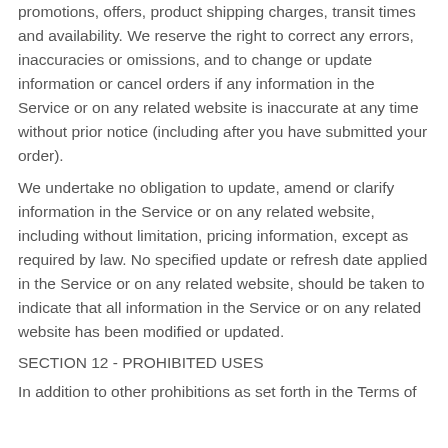promotions, offers, product shipping charges, transit times and availability. We reserve the right to correct any errors, inaccuracies or omissions, and to change or update information or cancel orders if any information in the Service or on any related website is inaccurate at any time without prior notice (including after you have submitted your order).
We undertake no obligation to update, amend or clarify information in the Service or on any related website, including without limitation, pricing information, except as required by law. No specified update or refresh date applied in the Service or on any related website, should be taken to indicate that all information in the Service or on any related website has been modified or updated.
SECTION 12 - PROHIBITED USES
In addition to other prohibitions as set forth in the Terms of